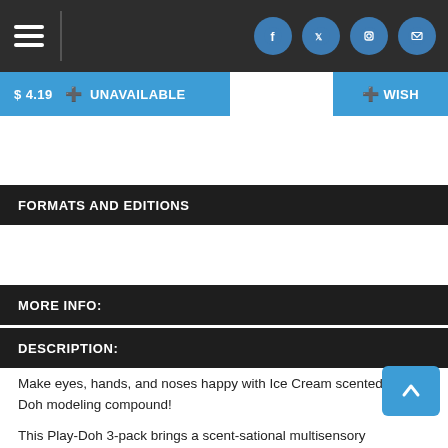Navigation bar with hamburger menu and social icons (Facebook, Twitter, Instagram, Email)
$ 4.19  + UNAVAILABLE
+ WISH
FORMATS AND EDITIONS
MORE INFO:
DESCRIPTION:
Make eyes, hands, and noses happy with Ice Cream scented Play-Doh modeling compound!

This Play-Doh 3-pack brings a scent-sational multisensory experience with 2 colors in each can, soft Play-Doh texture, and 3 delightfully fun scents. Mint chocolate chip, strawberry, and vanilla ice cream scents each come in their own 4-ounce cans to make your Play-Doh creations